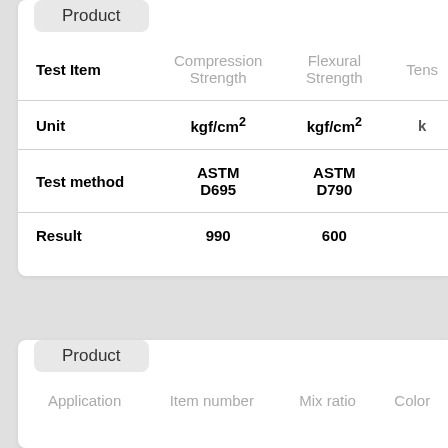Product
| Test Item | Compression Strength | Flexural Strength | Tens… |
| --- | --- | --- | --- |
| Unit | kgf/cm² | kgf/cm² | k… |
| Test method | ASTM D695 | ASTM D790 |  |
| Result | 990 | 600 |  |
Product
| Application | Item number | Mix ratio | Color |
| --- | --- | --- | --- |